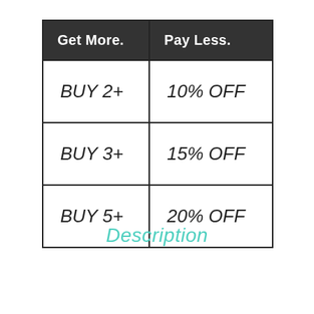| Get More. | Pay Less. |
| --- | --- |
| BUY 2+ | 10% OFF |
| BUY 3+ | 15% OFF |
| BUY 5+ | 20% OFF |
Description